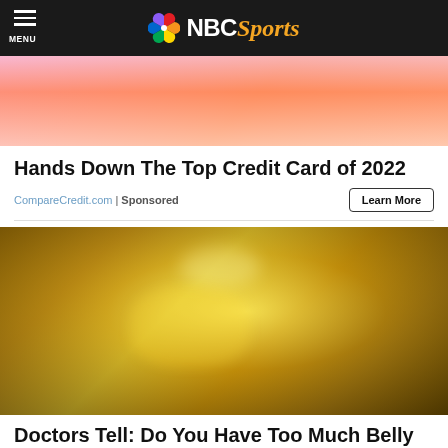NBC Sports
[Figure (photo): Partial image of a person in orange/pink clothing holding something, cropped at top]
Hands Down The Top Credit Card of 2022
CompareCredit.com | Sponsored
[Figure (photo): Close-up photo of a person holding a glittery golden/yellow item with gold dust/sparkles on it, over a bowl]
Doctors Tell: Do You Have Too Much Belly Fat?